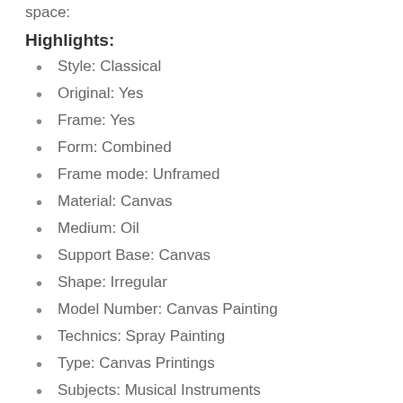space:
Highlights:
Style: Classical
Original: Yes
Frame: Yes
Form: Combined
Frame mode: Unframed
Material: Canvas
Medium: Oil
Support Base: Canvas
Shape: Irregular
Model Number: Canvas Painting
Technics: Spray Painting
Type: Canvas Printings
Subjects: Musical Instruments
Calligraphy and painting type: Canvas